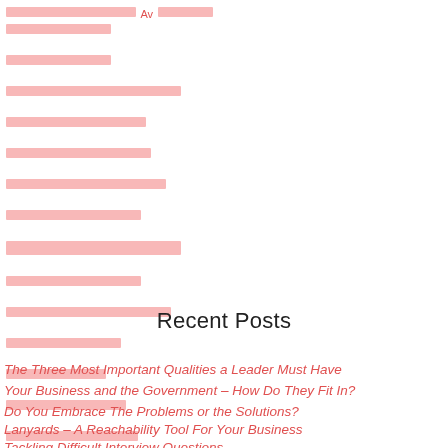[redacted content blocks - obfuscated text in salmon/pink color]
Recent Posts
The Three Most Important Qualities a Leader Must Have
Your Business and the Government – How Do They Fit In?
Do You Embrace The Problems or the Solutions?
Lanyards – A Reachability Tool For Your Business
Tackling Difficult Interview Questions